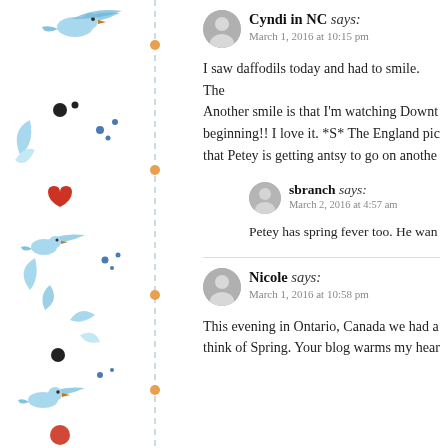[Figure (illustration): Decorative left sidebar with watercolor-style blue birds, floral elements, red berries, blue dots, and a vertical dashed line with orange dots]
Cyndi in NC says:
March 1, 2016 at 10:15 pm
I saw daffodils today and had to smile. The
Another smile is that I'm watching Downt
beginning!! I love it. *S* The England pic
that Petey is getting antsy to go on anothe
sbranch says:
March 2, 2016 at 4:57 am
Petey has spring fever too. He wan
Nicole says:
March 1, 2016 at 10:58 pm
This evening in Ontario, Canada we had a
think of Spring. Your blog warms my hear